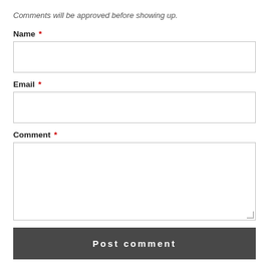Comments will be approved before showing up.
Name *
Email *
Comment *
Post comment